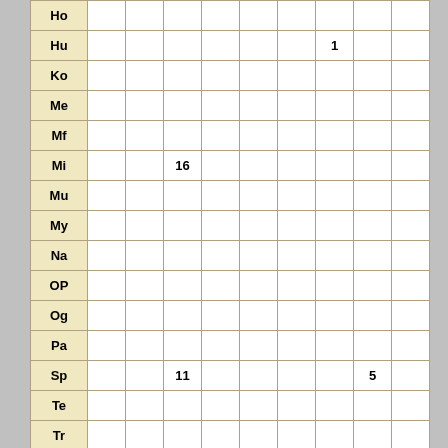|  | col1 | col2 | col3 | col4 | col5 | col6 | col7 | col8 | col9 |
| --- | --- | --- | --- | --- | --- | --- | --- | --- | --- |
| Ho |  |  |  |  |  |  |  |  |  |
| Hu |  |  |  |  |  |  | 1 |  |  |
| Ko |  |  |  |  |  |  |  |  |  |
| Me |  |  |  |  |  |  |  |  |  |
| Mf |  |  |  |  |  |  |  |  |  |
| Mi |  |  | 16 |  |  |  |  |  |  |
| Mu |  |  |  |  |  |  |  |  |  |
| My |  |  |  |  |  |  |  |  |  |
| Na |  |  |  |  |  |  |  |  |  |
| OP |  |  |  |  |  |  |  |  |  |
| Og |  |  |  |  |  |  |  |  |  |
| Pa |  |  |  |  |  |  |  |  |  |
| Sp |  |  | 11 |  |  |  |  | 5 |  |
| Te |  |  |  |  |  |  |  |  |  |
| Tr |  |  |  |  |  |  |  |  |  |
| VS |  | 9 |  |  |  |  |  |  |  |
| Vp |  |  |  |  |  |  |  |  |  |